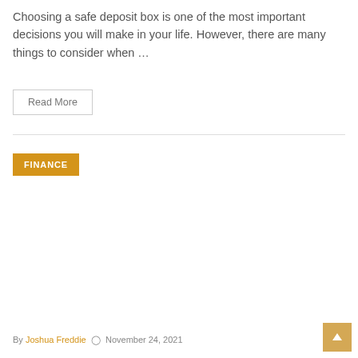Choosing a safe deposit box is one of the most important decisions you will make in your life. However, there are many things to consider when …
Read More
FINANCE
By Joshua Freddie   November 24, 2021